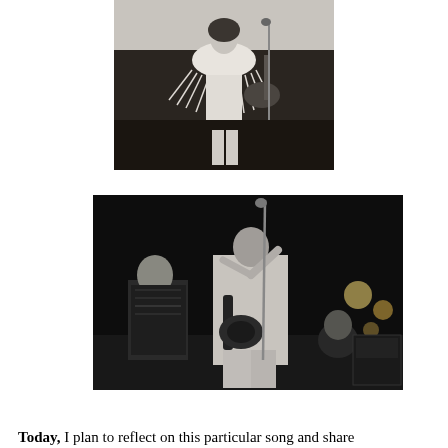[Figure (photo): Black and white concert photo of a performer on stage wearing a white fringed outfit, playing guitar in front of a microphone stand.]
[Figure (photo): Black and white concert photo of a band performing on stage. A guitarist is playing with arms raised, another musician on left in patterned shirt, and another musician visible in background on right. Stage lights visible.]
Today, I plan to reflect on this particular song and share